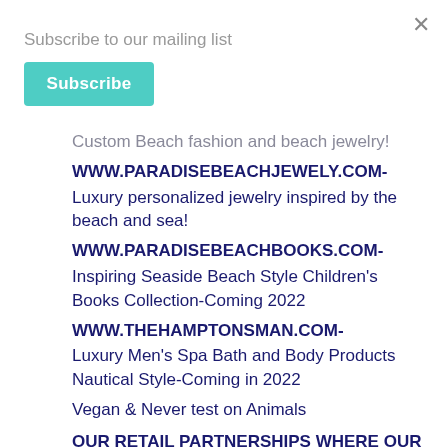Subscribe to our mailing list
Subscribe
Custom Beach fashion and beach jewelry!
WWW.PARADISEBEACHJEWELY.COM-
Luxury personalized jewelry inspired by the beach and sea!
WWW.PARADISEBEACHBOOKS.COM-
Inspiring Seaside Beach Style Children's Books Collection-Coming 2022
WWW.THEHAMPTONSMAN.COM-
Luxury Men's Spa Bath and Body Products Nautical Style-Coming in 2022
Vegan & Never test on Animals
OUR RETAIL PARTNERSHIPS WHERE OUR PRODUCTS ARE SOLD:
AMAZON